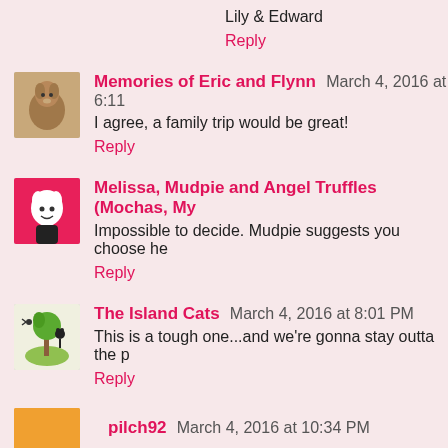Lily & Edward
Reply
Memories of Eric and Flynn  March 4, 2016 at 6:11
I agree, a family trip would be great!
Reply
Melissa, Mudpie and Angel Truffles (Mochas, My
Impossible to decide. Mudpie suggests you choose he
Reply
The Island Cats  March 4, 2016 at 8:01 PM
This is a tough one...and we're gonna stay outta the p
Reply
pilch92  March 4, 2016 at 10:34 PM